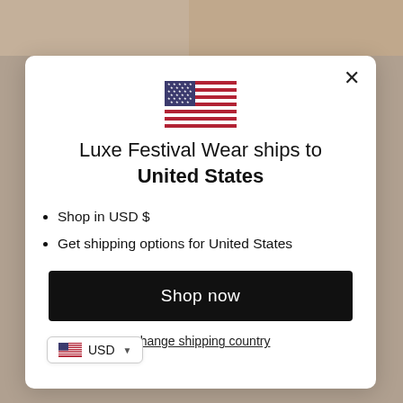[Figure (screenshot): Modal dialog on a shopping website showing US flag, shipping info, and shop now button]
Luxe Festival Wear ships to United States
Shop in USD $
Get shipping options for United States
Shop now
Change shipping country
USD